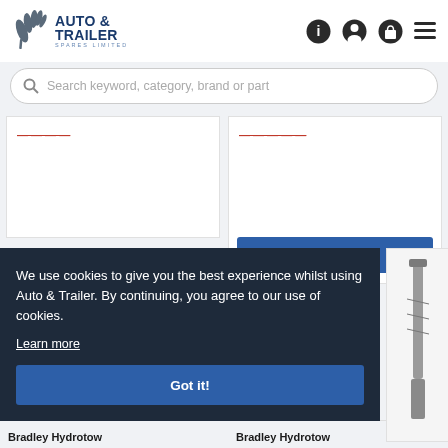[Figure (logo): Auto & Trailer Spares Limited logo with leaf/tire graphic and blue text]
Search keyword, category, brand or part
Add to Cart
We use cookies to give you the best experience whilst using Auto & Trailer. By continuing, you agree to our use of cookies.
Learn more
Got it!
Bradley Hydrotow
Bradley Hydrotow